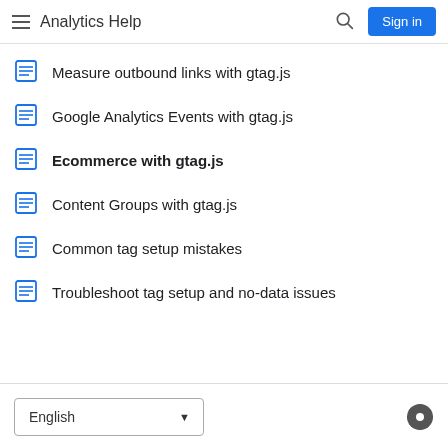Analytics Help
Measure outbound links with gtag.js
Google Analytics Events with gtag.js
Ecommerce with gtag.js
Content Groups with gtag.js
Common tag setup mistakes
Troubleshoot tag setup and no-data issues
English